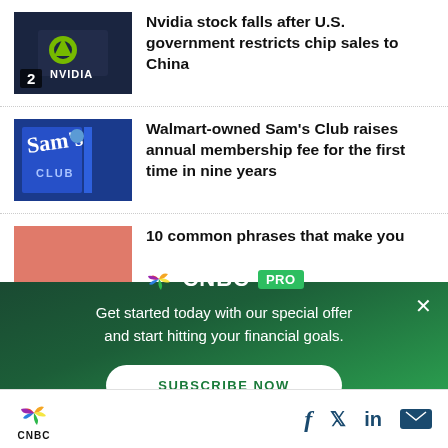[Figure (screenshot): CNBC news website screenshot showing list of news articles with thumbnails and an overlay ad for CNBC PRO]
Nvidia stock falls after U.S. government restricts chip sales to China
Walmart-owned Sam’s Club raises annual membership fee for the first time in nine years
10 common phrases that make you
Get started today with our special offer and start hitting your financial goals.
SUBSCRIBE NOW
CNBC | Facebook | Twitter | LinkedIn | Email